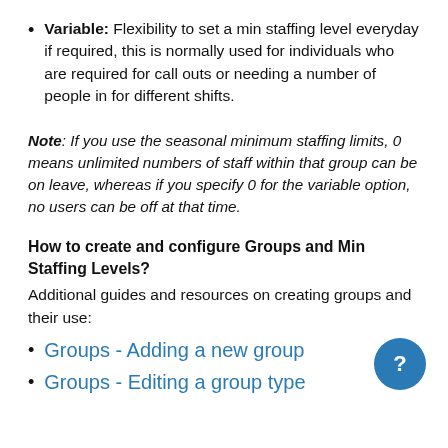Variable: Flexibility to set a min staffing level everyday if required, this is normally used for individuals who are required for call outs or needing a number of people in for different shifts.
Note: If you use the seasonal minimum staffing limits, 0 means unlimited numbers of staff within that group can be on leave, whereas if you specify 0 for the variable option, no users can be off at that time.
How to create and configure Groups and Min Staffing Levels?
Additional guides and resources on creating groups and their use:
Groups - Adding a new group
Groups - Editing a group type